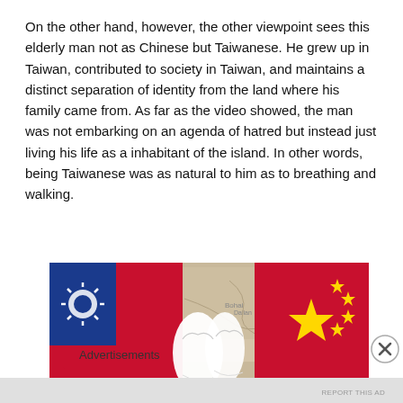On the other hand, however, the other viewpoint sees this elderly man not as Chinese but Taiwanese. He grew up in Taiwan, contributed to society in Taiwan, and maintains a distinct separation of identity from the land where his family came from. As far as the video showed, the man was not embarking on an agenda of hatred but instead just living his life as a inhabitant of the island. In other words, being Taiwanese was as natural to him as to breathing and walking.
[Figure (illustration): Illustration showing Taiwan flag on the left and Chinese flag on the right with cartoon white-gloved hands in the center, overlaid on a map background.]
Advertisements